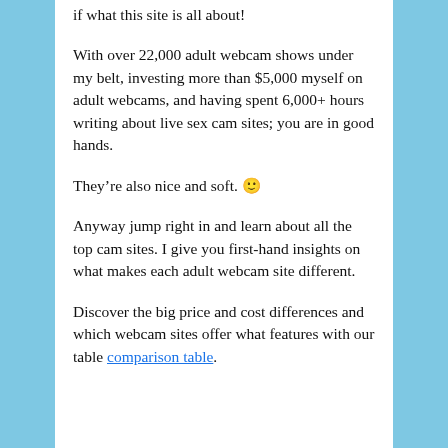if what this site is all about!
With over 22,000 adult webcam shows under my belt, investing more than $5,000 myself on adult webcams, and having spent 6,000+ hours writing about live sex cam sites; you are in good hands.
They’re also nice and soft. 🙂
Anyway jump right in and learn about all the top cam sites. I give you first-hand insights on what makes each adult webcam site different.
Discover the big price and cost differences and which webcam sites offer what features with our table comparison table.